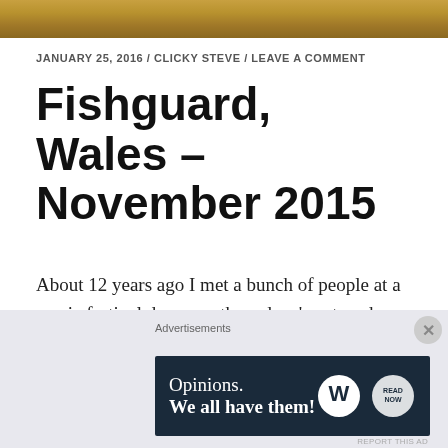[Figure (photo): Decorative header image with warm golden/brown tones at the top of the page]
JANUARY 25, 2016 / CLICKY STEVE / LEAVE A COMMENT
Fishguard, Wales – November 2015
About 12 years ago I met a bunch of people at a music festival down south, and we've stayed friends ever since. Now, we are 'all grown up', married, and one of our couples even have a (new) baby – named Ffion.
[Figure (other): Advertisement banner: 'Opinions. We all have them!' with WordPress and other logos on dark navy background. Labeled 'Advertisements'.]